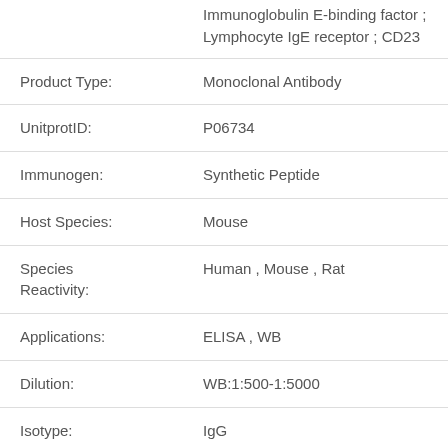|  | Immunoglobulin E-binding factor ; Lymphocyte IgE receptor ; CD23 |
| Product Type: | Monoclonal Antibody |
| UnitprotID: | P06734 |
| Immunogen: | Synthetic Peptide |
| Host Species: | Mouse |
| Species Reactivity: | Human , Mouse , Rat |
| Applications: | ELISA , WB |
| Dilution: | WB:1:500-1:5000 |
| Isotype: | IgG |